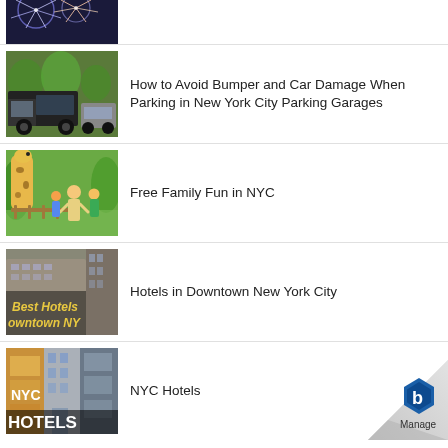[Figure (photo): Top partial fireworks image]
[Figure (photo): Garbage truck or large vehicle on NYC street]
How to Avoid Bumper and Car Damage When Parking in New York City Parking Garages
[Figure (photo): Giraffe with family at zoo]
Free Family Fun in NYC
[Figure (photo): Best Hotels Downtown NYC building sign]
Hotels in Downtown New York City
[Figure (photo): NYC Hotels collage]
NYC Hotels
[Figure (logo): Manage logo with hexagon icon bottom right corner page curl]